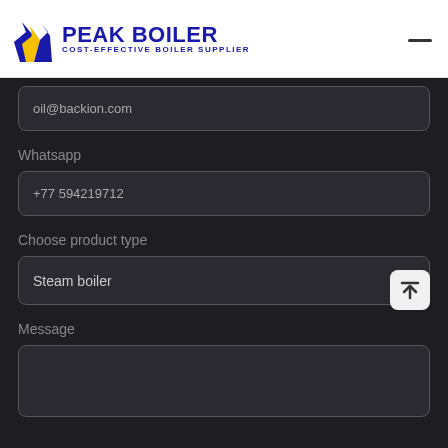[Figure (logo): Peak Boiler logo with blue flame icon and text 'PEAK BOILER / COST-EFFECTIVE BOILER SUPPLIER']
oil@backion.com
Whatsapp
+77 594219712
Choose product type
Steam boiler
Message